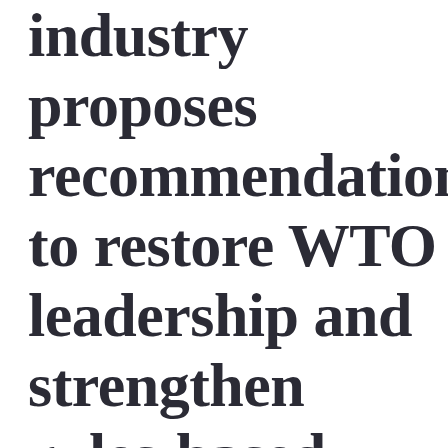industry proposes recommendation to restore WTO leadership and strengthen rules-based, multilateral